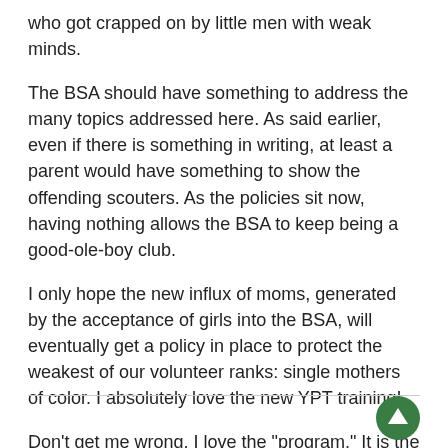who got crapped on by little men with weak minds.
The BSA should have something to address the many topics addressed here.  As said earlier, even if there is something in writing, at least a parent would have something to show the offending scouters.  As the policies sit now, having nothing allows the BSA to keep being a good-ole-boy club.
I only hope the new influx of moms, generated by the acceptance of girls into the BSA, will eventually get a policy in place to protect the weakest of our volunteer ranks: single mothers of color.  I absolutely love the new YPT training!
Don't get me wrong, I love the "program."  It is the organization that I wish would stop letting us down.